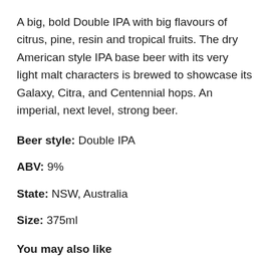A big, bold Double IPA with big flavours of citrus, pine, resin and tropical fruits. The dry American style IPA base beer with its very light malt characters is brewed to showcase its Galaxy, Citra, and Centennial hops. An imperial, next level, strong beer.
Beer style: Double IPA
ABV: 9%
State: NSW, Australia
Size: 375ml
You may also like